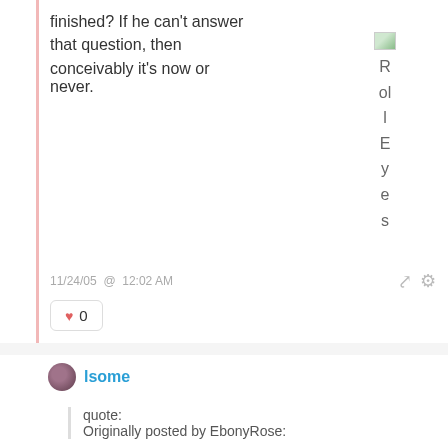finished? If he can't answer that question, then conceivably it's now or never.
[Figure (illustration): Broken image placeholder with 'RolEyes' text rotated vertically (forum emoticon)]
11/24/05 @ 12:02 AM
0
lsome
quote:
Originally posted by EbonyRose: